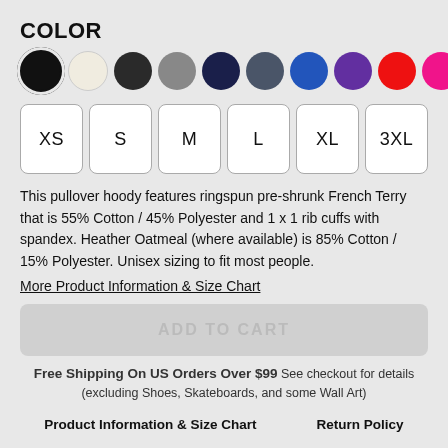COLOR
[Figure (illustration): Row of 11 color swatches as circles: black (selected with ring), cream/oatmeal, dark charcoal, gray, navy, dark gray-blue, royal blue, purple, red, hot pink, green]
[Figure (illustration): Size selector buttons: XS, S, M, L, XL, 3XL]
This pullover hoody features ringspun pre-shrunk French Terry that is 55% Cotton / 45% Polyester and 1 x 1 rib cuffs with spandex. Heather Oatmeal (where available) is 85% Cotton / 15% Polyester. Unisex sizing to fit most people.
More Product Information & Size Chart
ADD TO CART
Free Shipping On US Orders Over $99 See checkout for details (excluding Shoes, Skateboards, and some Wall Art)
Product Information & Size Chart	Return Policy